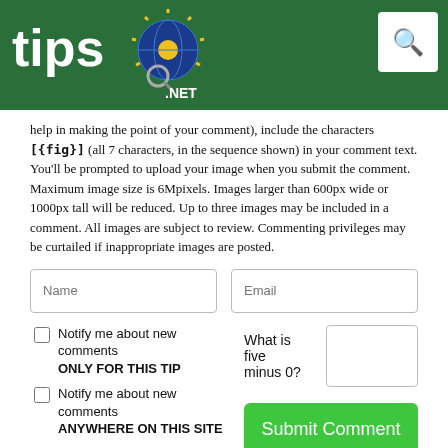[Figure (logo): tips.net logo with globe graphic on green header bar with search icon]
help in making the point of your comment), include the characters [{fig}] (all 7 characters, in the sequence shown) in your comment text. You’ll be prompted to upload your image when you submit the comment. Maximum image size is 6Mpixels. Images larger than 600px wide or 1000px tall will be reduced. Up to three images may be included in a comment. All images are subject to review. Commenting privileges may be curtailed if inappropriate images are posted.
Name
Email
Notify me about new comments ONLY FOR THIS TIP
What is five minus 0?
Notify me about new comments ANYWHERE ON THIS SITE
Hide my email address
Submit Comment
There are currently no comments for this tip. (Be the first to leave